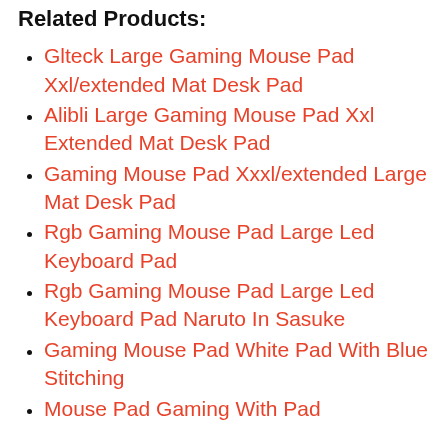Related Products:
Glteck Large Gaming Mouse Pad Xxl/extended Mat Desk Pad
Alibli Large Gaming Mouse Pad Xxl Extended Mat Desk Pad
Gaming Mouse Pad Xxxl/extended Large Mat Desk Pad
Rgb Gaming Mouse Pad Large Led Keyboard Pad
Rgb Gaming Mouse Pad Large Led Keyboard Pad Naruto In Sasuke
Gaming Mouse Pad White Pad With Blue Stitching
Mouse Pad Gaming With Pad